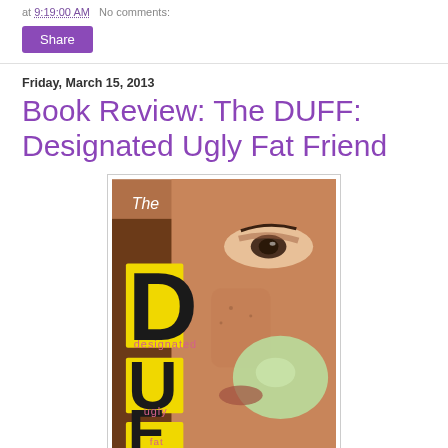at 9:19:00 AM   No comments:
Share
Friday, March 15, 2013
Book Review: The DUFF: Designated Ugly Fat Friend
[Figure (photo): Book cover of 'The DUFF: Designated Ugly Fat Friend' showing a close-up of a girl's face blowing a bubble gum bubble, with large yellow letters D, U, F, F overlaid, and the words 'The', 'designated', 'ugly', 'fat' in smaller text.]